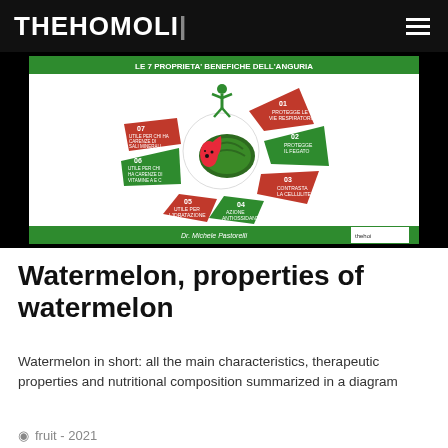THEHOMOLI
[Figure (infographic): Italian infographic titled 'LE 7 PROPRIETA' BENEFICHE DELL'ANGURIA' (The 7 beneficial properties of watermelon) showing a circular diagram with 7 red and green arrow segments around a central watermelon image and green jumping figure. Segments numbered 01-07: 01 PROTEGGE LE VIE RESPIRATORIE, 02 PROTEGGE IL FEGATO, 03 CONTRASTA LA CELLULITE, 04 AZIONE ANTIOSSIDANTE, 05 UTILE PER L'IDRATAZIONE, 06 UTILE PER CHI HA CARENZE DI VITAMINE A E C, 07 UTILE PER CHI HA CARENZE DI SALI MINERALI. Credit: Dr. Michele Pastorelli.]
Watermelon, properties of watermelon
Watermelon in short: all the main characteristics, therapeutic properties and nutritional composition summarized in a diagram
fruit - 2021